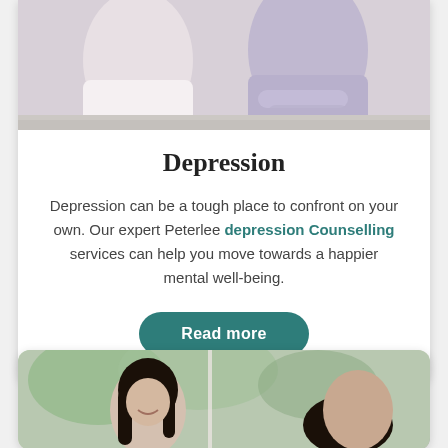[Figure (photo): Partial view of a person in a white top with another person partially visible, cropped at the top of the card]
Depression
Depression can be a tough place to confront on your own. Our expert Peterlee depression Counselling services can help you move towards a happier mental well-being.
Read more
[Figure (photo): Two people in a counselling session setting, one with long dark hair, green foliage visible in background]